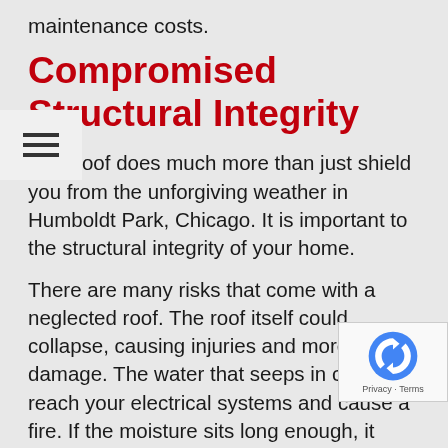maintenance costs.
Compromised Structural Integrity
Your roof does much more than just shield you from the unforgiving weather in Humboldt Park, Chicago. It is important to the structural integrity of your home.
There are many risks that come with a neglected roof. The roof itself could collapse, causing injuries and more damage. The water that seeps in could reach your electrical systems and cause a fire. If the moisture sits long enough, it could weaken load-bearing walls.
Reduced Property Value